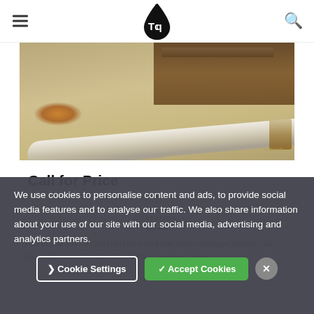Tq logo header with hamburger menu and search icon
[Figure (photo): Photo of a used heat exchanger tube/pipe component lying on gravel ground with wooden boards behind it. The pipe appears corroded/burned at one end.]
Call for Price
CONDITION: Used
Heat Exchangers - 0.75 MMBTU/hr Sweet Line Heater Packager: Presson; Year Built: 1993; Service Type: Sweet; PASC Condition Rating:
We use cookies to personalise content and ads, to provide social media features and to analyse our traffic. We also share information about your use of our site with our social media, advertising and analytics partners.